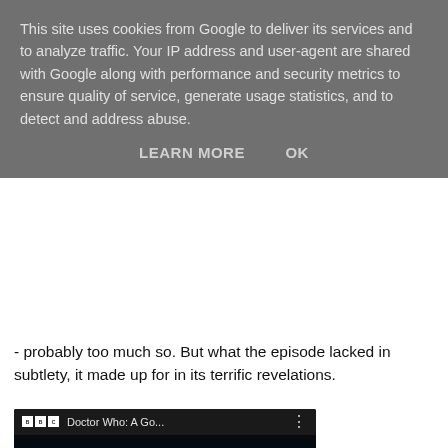This site uses cookies from Google to deliver its services and to analyze traffic. Your IP address and user-agent are shared with Google along with performance and security metrics to ensure quality of service, generate usage statistics, and to detect and address abuse.
LEARN MORE    OK
- probably too much so. But what the episode lacked in subtlety, it made up for in its terrific revelations.
[Figure (screenshot): YouTube embedded video player showing Doctor Who: A Go... with BBC logo, dark video frame with red play button, and BBC One branding at the bottom]